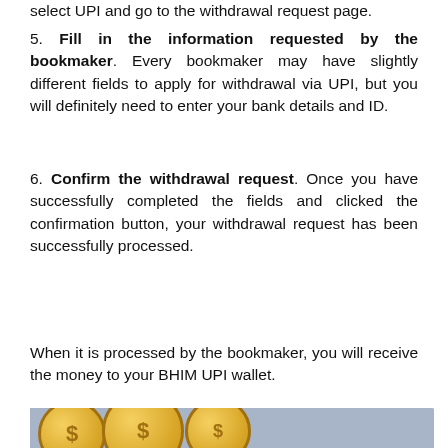select UPI and go to the withdrawal request page.
5. Fill in the information requested by the bookmaker. Every bookmaker may have slightly different fields to apply for withdrawal via UPI, but you will definitely need to enter your bank details and ID.
6. Confirm the withdrawal request. Once you have successfully completed the fields and clicked the confirmation button, your withdrawal request has been successfully processed.
When it is processed by the bookmaker, you will receive the money to your BHIM UPI wallet.
[Figure (illustration): Promotional image showing gold coins and green money bills with bold white outlined text reading 'HOW TO WITHDRAW MONEY WITH BHIM?' on a grey-blue background. A blue scroll-to-top button with an upward arrow is overlaid in the top-right corner.]